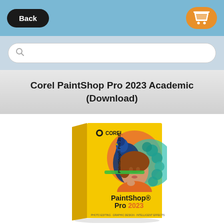Back | [cart icon]
[search bar]
Corel PaintShop Pro 2023 Academic (Download)
[Figure (photo): Corel PaintShop Pro 2023 software box. Yellow box with an image of a woman and a peacock. Text on box reads: COREL, PaintShop Pro 2023, PHOTO EDITING · GRAPHIC DESIGN · INTELLIGENT EFFECTS. Spine reads: PaintShop Pro 2023.]